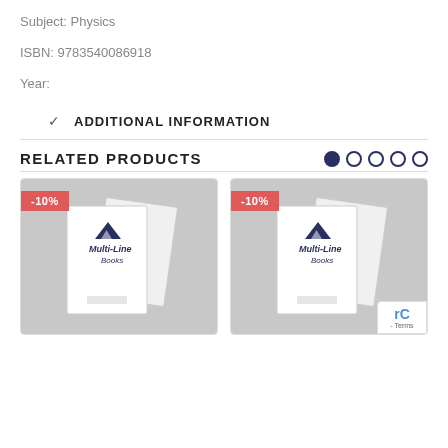Subject: Physics
ISBN: 9783540086918
Year:
ADDITIONAL INFORMATION
RELATED PRODUCTS
[Figure (illustration): Two product cards for Multi-Line Books, each showing a book cover illustration with a -10% discount badge on a gray background]
- Terms